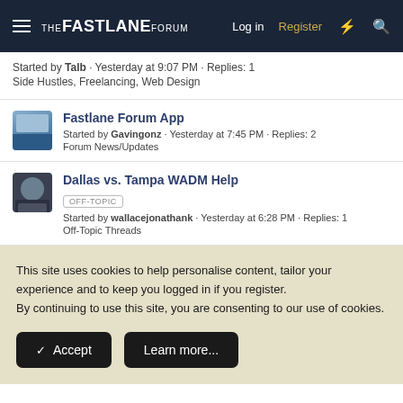THE FASTLANE FORUM · Log in · Register
Started by Talb · Yesterday at 9:07 PM · Replies: 1
Side Hustles, Freelancing, Web Design
Fastlane Forum App
Started by Gavingonz · Yesterday at 7:45 PM · Replies: 2
Forum News/Updates
Dallas vs. Tampa WADM Help
OFF-TOPIC
Started by wallacejonathank · Yesterday at 6:28 PM · Replies: 1
Off-Topic Threads
This site uses cookies to help personalise content, tailor your experience and to keep you logged in if you register.
By continuing to use this site, you are consenting to our use of cookies.
Accept · Learn more...